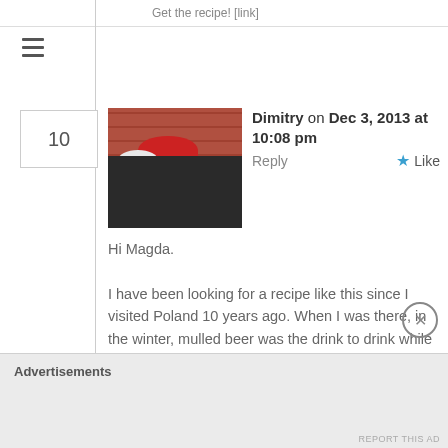Get the recipe! [link]
[Figure (photo): Hamburger menu icon (three horizontal lines)]
10
[Figure (photo): Avatar photo of Dimitry — person with red hair, glasses, dark clothing, brick wall background]
Dimitry on Dec 3, 2013 at 10:08 pm
Reply
Like
Hi Magda.

I have been looking for a recipe like this since I visited Poland 10 years ago. When I was there, in the winter, mulled beer was the drink to drink while waking through town. I tried my hand at it when I returned state side but everything I made was not good. I look forward to trying yours.

Than
Advertisements